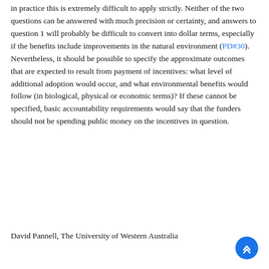in practice this is extremely difficult to apply strictly. Neither of the two questions can be answered with much precision or certainty, and answers to question 1 will probably be difficult to convert into dollar terms, especially if the benefits include improvements in the natural environment (PD#30). Nevertheless, it should be possible to specify the approximate outcomes that are expected to result from payment of incentives: what level of additional adoption would occur, and what environmental benefits would follow (in biological, physical or economic terms)? If these cannot be specified, basic accountability requirements would say that the funders should not be spending public money on the incentives in question.
David Pannell, The University of Western Australia